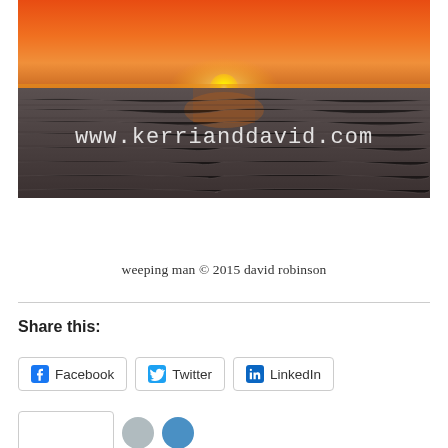[Figure (photo): Ocean sunset photo with orange/red sky, sun on horizon over dark choppy water. White text overlay reads 'www.kerrianddavid.com']
weeping man © 2015 david robinson
Share this:
Facebook  Twitter  LinkedIn